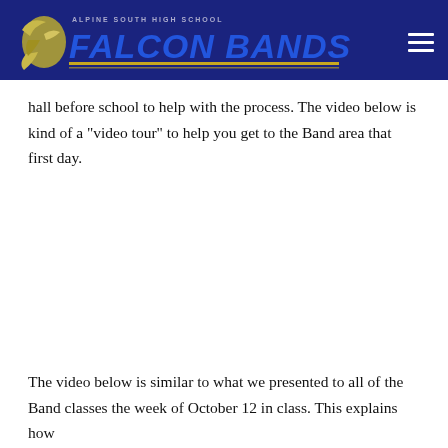ALPINE SOUTH HIGH SCHOOL FALCON BANDS
hall before school to help with the process. The video below is kind of a "video tour" to help you get to the Band area that first day.
The video below is similar to what we presented to all of the Band classes the week of October 12 in class. This explains how